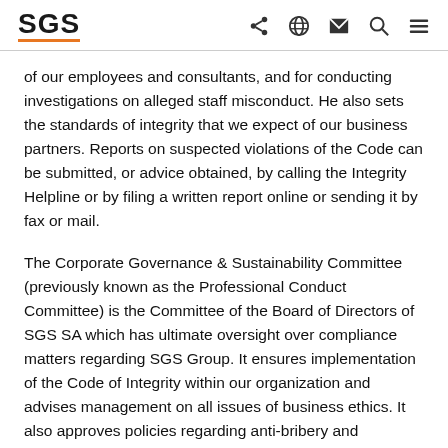SGS [logo with share, globe, mail, search, menu icons]
of our employees and consultants, and for conducting investigations on alleged staff misconduct. He also sets the standards of integrity that we expect of our business partners. Reports on suspected violations of the Code can be submitted, or advice obtained, by calling the Integrity Helpline or by filing a written report online or sending it by fax or mail.
The Corporate Governance & Sustainability Committee (previously known as the Professional Conduct Committee) is the Committee of the Board of Directors of SGS SA which has ultimate oversight over compliance matters regarding SGS Group. It ensures implementation of the Code of Integrity within our organization and advises management on all issues of business ethics. It also approves policies regarding anti-bribery and corruption and the use of certain suppliers